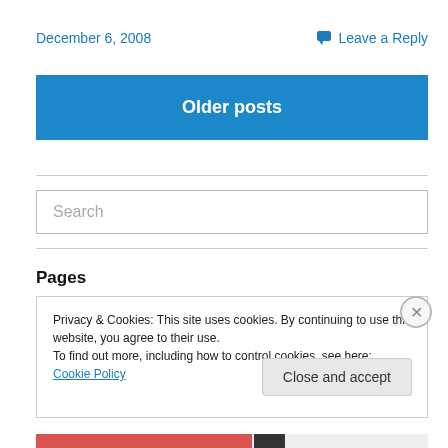December 6, 2008
Leave a Reply
Older posts
[Figure (other): Search input box with placeholder text 'Search']
Pages
Privacy & Cookies: This site uses cookies. By continuing to use this website, you agree to their use.
To find out more, including how to control cookies, see here: Cookie Policy
Close and accept